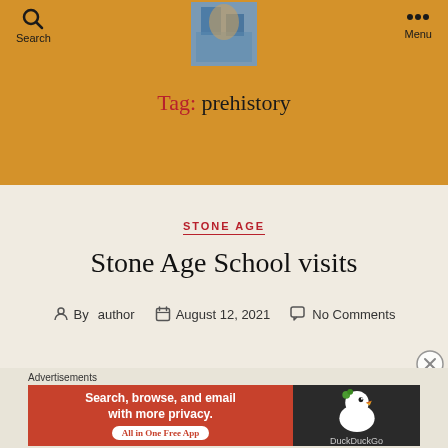Search | Menu
Tag: prehistory
STONE AGE
Stone Age School visits
By author  August 12, 2021  No Comments
Advertisements
[Figure (screenshot): DuckDuckGo advertisement banner: Search, browse, and email with more privacy. All in One Free App.]